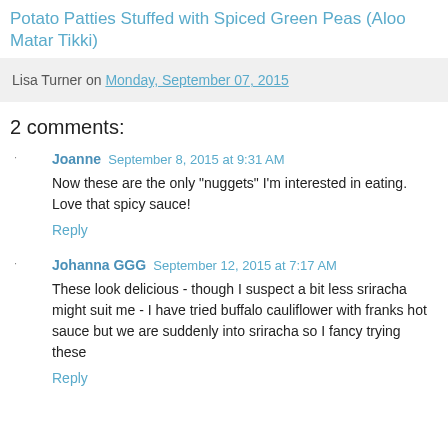Potato Patties Stuffed with Spiced Green Peas (Aloo Matar Tikki)
Lisa Turner on Monday, September 07, 2015
2 comments:
Joanne September 8, 2015 at 9:31 AM
Now these are the only "nuggets" I'm interested in eating. Love that spicy sauce!
Reply
Johanna GGG September 12, 2015 at 7:17 AM
These look delicious - though I suspect a bit less sriracha might suit me - I have tried buffalo cauliflower with franks hot sauce but we are suddenly into sriracha so I fancy trying these
Reply